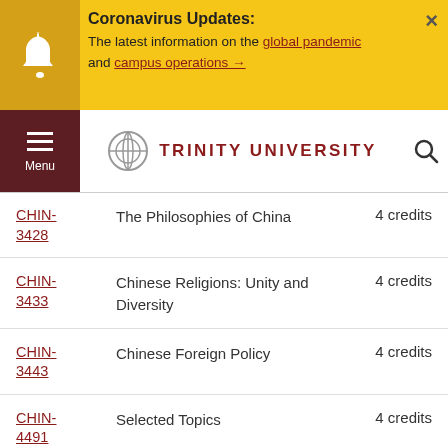Coronavirus Updates: The latest information on the global pandemic and campus operations →
[Figure (screenshot): Trinity University navigation bar with logo and menu]
CHIN-3428 | The Philosophies of China | 4 credits
CHIN-3433 | Chinese Religions: Unity and Diversity | 4 credits
CHIN-3443 | Chinese Foreign Policy | 4 credits
CHIN-4491 | Selected Topics | 4 credits